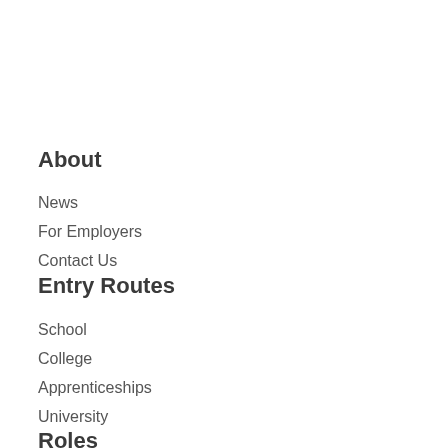About
News
For Employers
Contact Us
Entry Routes
School
College
Apprenticeships
University
Roles
Engineering
Maintenance